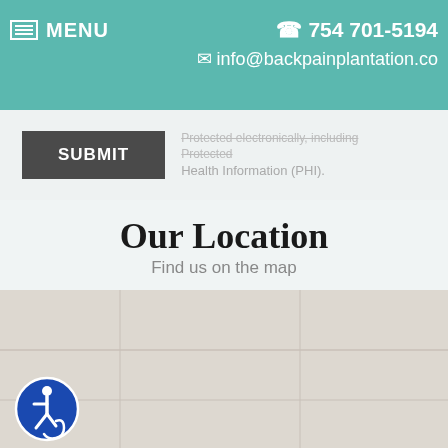MENU  ☎ 754 701-5194  ✉ info@backpainplantation.co
SUBMIT
Protected Health Information (PHI).
Our Location
Find us on the map
[Figure (map): Google map showing location of Back Pain Plantation office. Map background is light gray/beige with no specific road features visible in cropped view.]